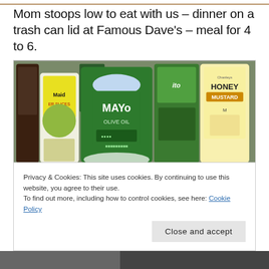[Figure (photo): Top cropped portion of a food/lifestyle image at the top of the page]
Mom stoops low to eat with us – dinner on a trash can lid at Famous Dave's – meal for 4 to 6.
[Figure (photo): Photo of a refrigerator shelf showing condiment bottles including Maid pickle slices, Kraft Mayo with Olive Oil, a green can, and Country Honey Mustard jar. Below the shelf is a white styrofoam takeout container and a dark container on the right.]
Privacy & Cookies: This site uses cookies. By continuing to use this website, you agree to their use.
To find out more, including how to control cookies, see here: Cookie Policy
Close and accept